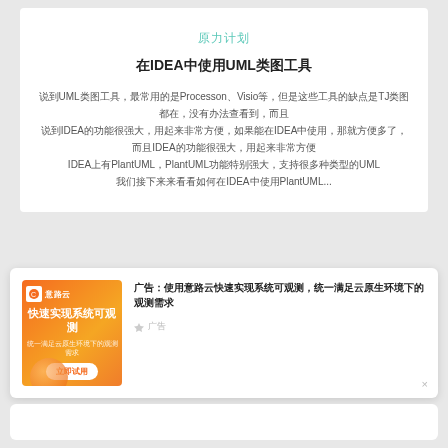原力计划
在IDEA中使用UML类图工具
说到UML类图工具，最常用的是Processon、Visio等，但是这些工具的缺点是TJ类图都在，没有办法查看到，而且IDEA的功能很强大，用起来非常方便，如果能在IDEA中使用UML类图，那就方便多了。在IDEA上有PlantUML，PlantUML功能特别强大，支持很多种类型的UML类图，我们接下来来看看...
[Figure (illustration): Orange gradient advertisement banner for 意路云 (cloud observability platform) with text 快速实现系统可观测 and button 立即试用]
广告：使用意路云快速实现系统可观测，统一满足云原生环境下的观测需求